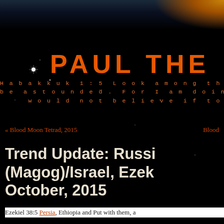PAUL THE
Habakkuk 1:5 Look among the natio be astounded. For I am doing a wo would not believe if tol
« Blood Moon Tetrad, 2015    Blood
Trend Update: Russi (Magog)/Israel, Ezek October, 2015
Ezekiel 38:5 Persia, Ethiopia and Put with them, a